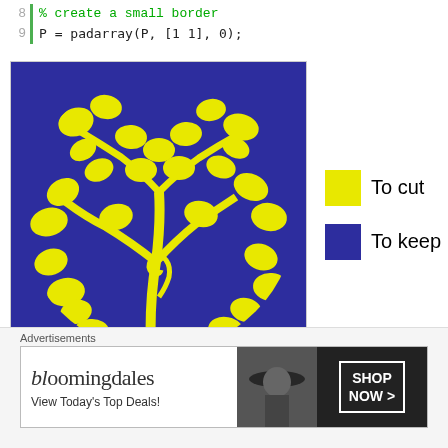8   % create a small border
9   P = padarray(P, [1 1], 0);
[Figure (illustration): A circular decorative pattern with yellow floral/vine motifs on a dark blue/purple background. A legend to the right shows a yellow square labeled 'To cut' and a dark blue square labeled 'To keep'.]
Now, this is a bitmap image and we will eventually need
Advertisements
Bloomingdale's - View Today's Top Deals! SHOP NOW >